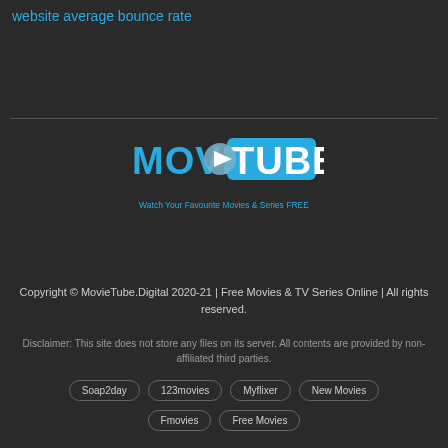website average bounce rate
[Figure (logo): MovieTube logo with play button icon and text 'MOVIETUBE - Watch Your Favourite Movies & Series FREE']
Copyright © MovieTube.Digital 2020-21 | Free Movies & TV Series Online | All rights reserved.
Disclaimer: This site does not store any files on its server. All contents are provided by non-affiliated third parties.
Soap2day
123movies
Myflixer
New Movies
Fmovies
Free Movies